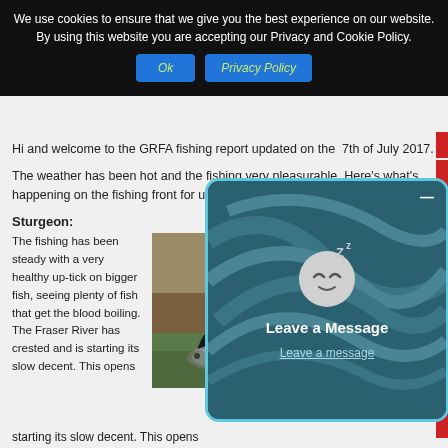We use cookies to ensure that we give you the best experience on our website. By using this website you are accepting our Privacy and Cookie Policy.
Ok   Privacy Policy
Hi and welcome to the GRFA fishing report updated on the  7th of July 2017.
The weather has been hot and the fishing very pleasurable. Here's what's happening on the fishing front for us...
Sturgeon:
The fishing has been steady with a very healthy up-tick on bigger fish, seeing plenty of fish that get the blood boiling. The Fraser River has crested and is starting its slow decent. This opens
[Figure (photo): Person handling a large sturgeon fish near water/riverbank]
[Figure (screenshot): Leave a Message overlay widget with sleeping face emoji icon and a 'Leave a message' link, on a dark teal swirling background]